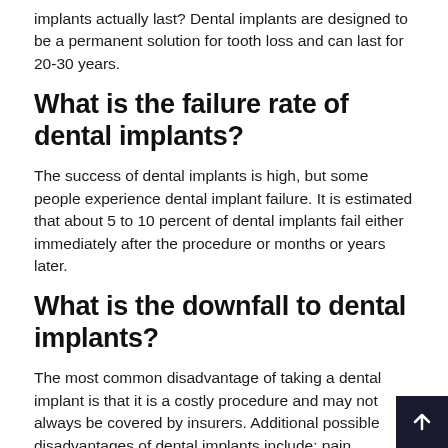implants actually last? Dental implants are designed to be a permanent solution for tooth loss and can last for 20-30 years.
What is the failure rate of dental implants?
The success of dental implants is high, but some people experience dental implant failure. It is estimated that about 5 to 10 percent of dental implants fail either immediately after the procedure or months or years later.
What is the downfall to dental implants?
The most common disadvantage of taking a dental implant is that it is a costly procedure and may not always be covered by insurers. Additional possible disadvantages of dental implants include: pain, swelling and bleeding due to surgery. Complications of anesthesia such as nausea, vomiting and drowsiness.